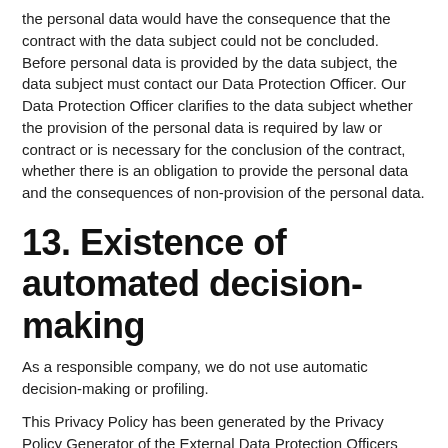the personal data would have the consequence that the contract with the data subject could not be concluded. Before personal data is provided by the data subject, the data subject must contact our Data Protection Officer. Our Data Protection Officer clarifies to the data subject whether the provision of the personal data is required by law or contract or is necessary for the conclusion of the contract, whether there is an obligation to provide the personal data and the consequences of non-provision of the personal data.
13. Existence of automated decision-making
As a responsible company, we do not use automatic decision-making or profiling.
This Privacy Policy has been generated by the Privacy Policy Generator of the External Data Protection Officers that was developed in cooperation with RC GmbH, which sells used notebooks and the Media Law Lawyers from WBS-LAW.
Imprimer